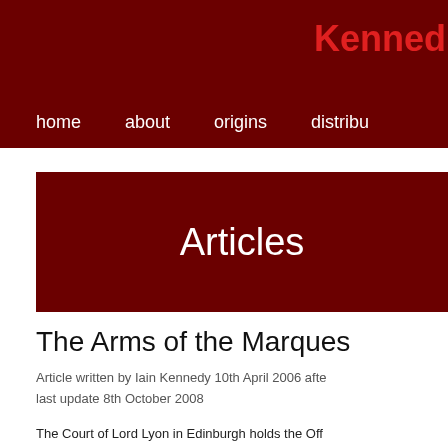Kennedy
home   about   origins   distribu
Articles
The Arms of the Marques
Article written by Iain Kennedy 10th April 2006 after...
last update 8th October 2008
The Court of Lord Lyon in Edinburgh holds the Off...
Parliament was passed requiring holders of Arms t